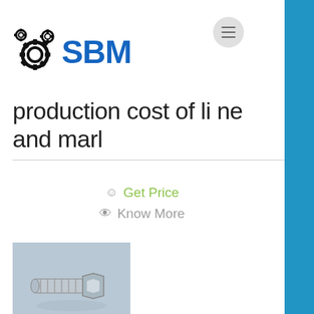SBM
production cost of li ne and marl
Get Price
Know More
[Figure (photo): A zinc-plated bolt with a hex nut, photographed on a light blue surface.]
Dry Sand Making Production Line
Details of limestone gravel production line with 500-550 tons per hour Details of granite gravel